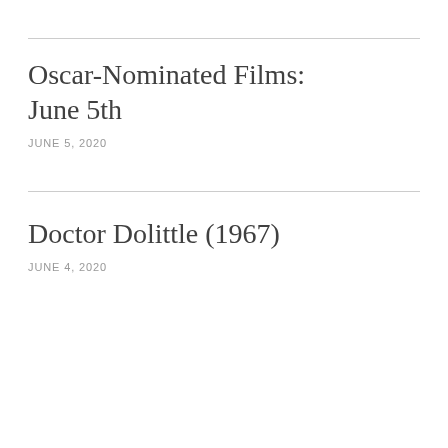Oscar-Nominated Films: June 5th
JUNE 5, 2020
Doctor Dolittle (1967)
JUNE 4, 2020